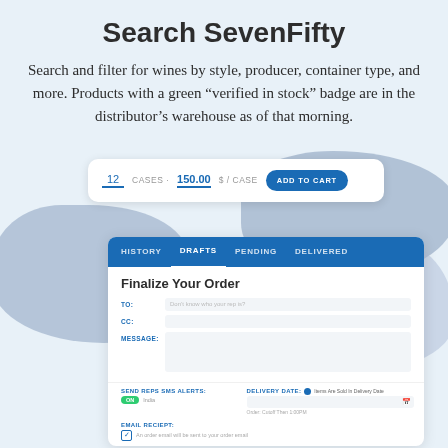Search SevenFifty
Search and filter for wines by style, producer, container type, and more. Products with a green “verified in stock” badge are in the distributor’s warehouse as of that morning.
[Figure (screenshot): UI screenshot showing an add-to-cart widget with '12 CASES', '150.00 $/CASE', and an 'ADD TO CART' button, overlaid on a blue organic blob shape. Below it is an order management card with tabs: HISTORY, DRAFTS (active), PENDING, DELIVERED, and a 'Finalize Your Order' form with TO, CC, MESSAGE fields, SEND REPS SMS ALERTS toggle ON, DELIVERY DATE selector, and EMAIL RECEIPT checkbox.]